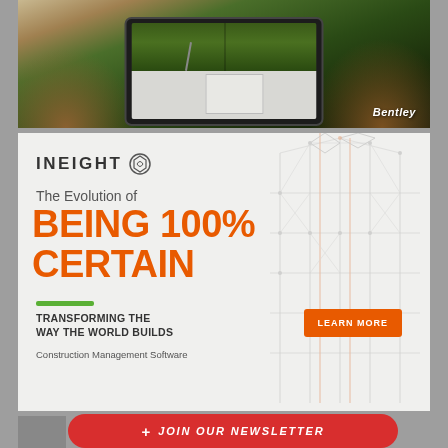[Figure (photo): Hands holding a tablet showing 3D terrain/landscape modeling software with green field and road views; Bentley branding label in lower right]
[Figure (infographic): InEight advertisement: logo with hexagon icon, headline 'The Evolution of BEING 100% CERTAIN', green accent bar, tagline 'TRANSFORMING THE WAY THE WORLD BUILDS', 'Construction Management Software', orange LEARN MORE button, wireframe building structure on right side]
[Figure (infographic): Red pill-shaped button with plus icon and text 'JOIN OUR NEWSLETTER' in italic white letters]